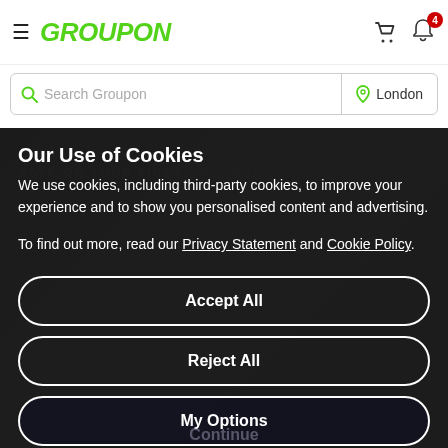GROUPON
Search Groupon | London
All Deals   Categories
Our Use of Cookies
We use cookies, including third-party cookies, to improve your experience and to show you personalised content and advertising.
To find out more, read our Privacy Statement and Cookie Policy.
Accept All
Reject All
My Options